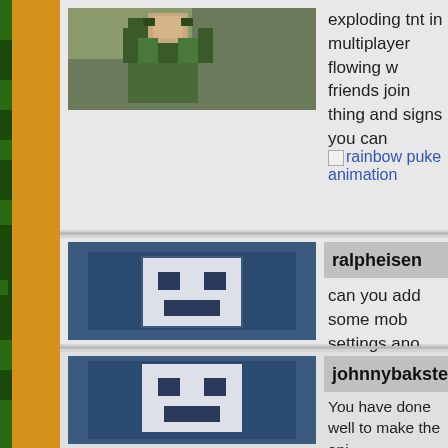[Figure (screenshot): Minecraft forum page showing user comments with avatars]
exploding tnt in multiplayer flowing w... friends join thing and signs you can...
rainbow puke animation
[Figure (photo): Minecraft default Steve avatar pixelated icon]
ralpheisen
can you add some mob settings ano...
[Figure (photo): Minecraft default Steve avatar pixelated icon]
johnnybaksteen
You have done well to make the ani... sandbox type games are pretty muc... something really unique.  The game... blocky look of the game.  But what i... way things look on surface areas.  Y... same with the terrain, hands, trees e... "underword" until you start digging.